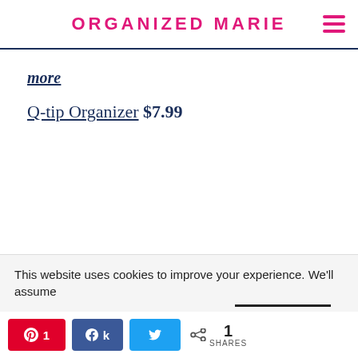ORGANIZED MARIE
more
Q-tip Organizer $7.99
This website uses cookies to improve your experience. We'll assume
< 1 SHARES